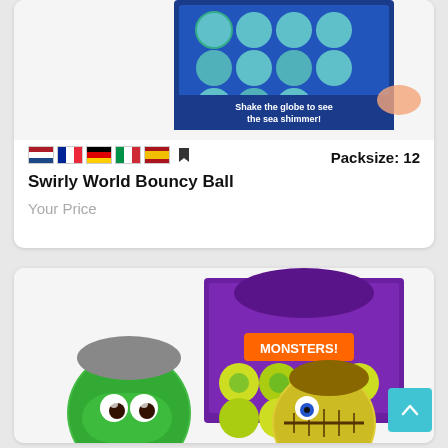[Figure (photo): Product image of Swirly World Bouncy Ball display box with globe-themed bouncy balls, partial view at top of card]
Packsize: 12
Swirly World Bouncy Ball
Your Price
[Figure (photo): Product image showing Monsters bouncy balls in purple display box, with large green and yellow monster face bouncy balls in foreground]